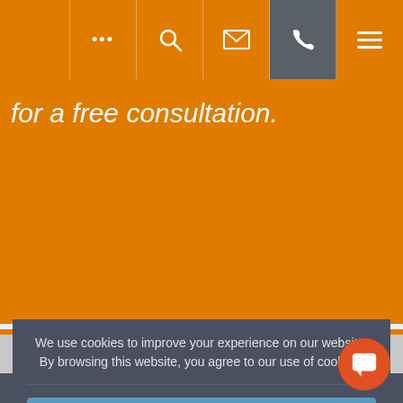... [search] [mail] [phone] [menu]
for a free consultation.
Contact us
Your Enquiry
We use cookies to improve your experience on our website. By browsing this website, you agree to our use of cookies.
Ok, I've understood!
Decline
Settings